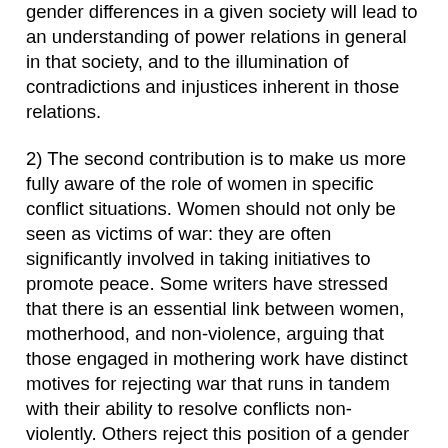gender differences in a given society will lead to an understanding of power relations in general in that society, and to the illumination of contradictions and injustices inherent in those relations.
2) The second contribution is to make us more fully aware of the role of women in specific conflict situations. Women should not only be seen as victims of war: they are often significantly involved in taking initiatives to promote peace. Some writers have stressed that there is an essential link between women, motherhood, and non-violence, arguing that those engaged in mothering work have distinct motives for rejecting war that runs in tandem with their ability to resolve conflicts non-violently. Others reject this position of a gender bias toward peace and stress rather that the same continuum of non-violence to violence is found among women as among men. In practice, it is never all women or all men who are involved in peace-making efforts. Sometimes, it is only a few, especially at the start of peace-making efforts. The basic question is how best to use the talents, energies, and networks of both women and men for efforts at conflict resolution.